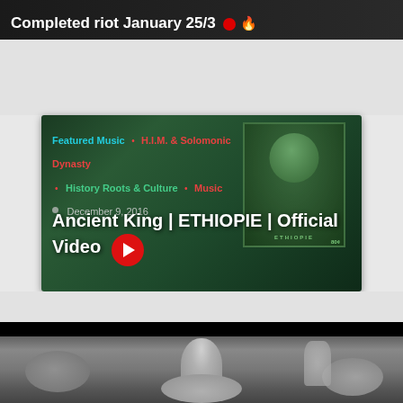[Figure (screenshot): Partially visible top video card with dark background, white bold title text partially cut off reading '...Completed riot January 25/3' with a red live dot and flame icon]
[Figure (screenshot): Video thumbnail card showing Ethiopia postage stamp design with green tones. Tags: 'Featured Music', 'H.I.M. & Solomonic Dynasty', 'History Roots & Culture', 'Music'. Date: December 9, 2016. Title: 'Ancient King | ETHIOPIE | Official Video' with red play button.]
[Figure (photo): Black and white religious illustration showing a robed figure (Jesus/Christ) surrounded by lions and other animals, partially visible at bottom of page. Black header bar at top of this section.]